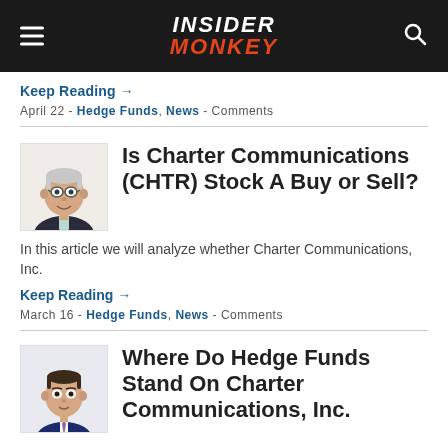INSIDER MONKEY
Keep Reading →
April 22 - Hedge Funds, News - Comments
Is Charter Communications (CHTR) Stock A Buy or Sell?
In this article we will analyze whether Charter Communications, Inc.
Keep Reading →
March 16 - Hedge Funds, News - Comments
Where Do Hedge Funds Stand On Charter Communications, Inc.